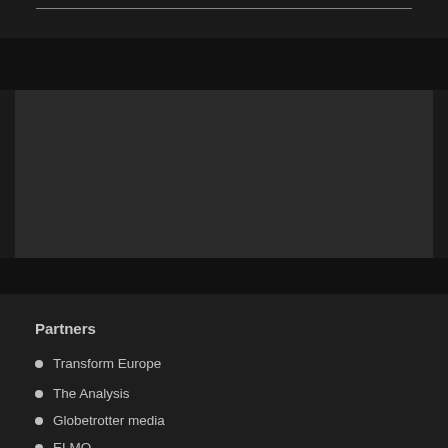[Figure (other): Dark placeholder image or content block area]
Partners
Transform Europe
The Analysis
Globetrotter media
ELMO